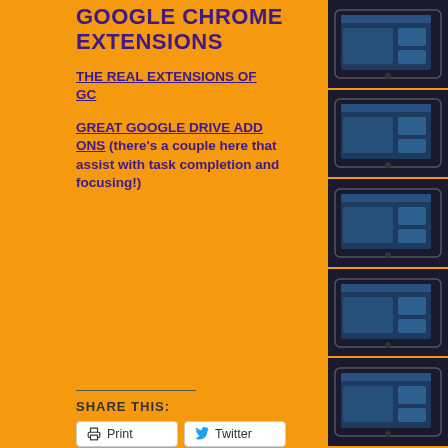GOOGLE CHROME EXTENSIONS
THE REAL EXTENSIONS OF GC
GREAT GOOGLE DRIVE ADD ONS  (there’s a couple here that assist with task completion and focusing!)
SHARE THIS:
Print  Twitter  Email  Pinterest
[Figure (photo): Multiple tablet devices stacked or repeated vertically on right side of page]